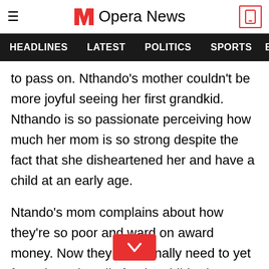Opera News
HEADLINES   LATEST   POLITICS   SPORTS
to pass on. Nthando's mother couldn't be more joyful seeing her first grandkid. Nthando is so passionate perceiving how much her mom is so strong despite the fact that she disheartened her and have a child at an early age.
Ntando's mom complains about how they're so poor and ward on award money. Now they additionally need to yet formula and spoils for the child. She likewise shows how